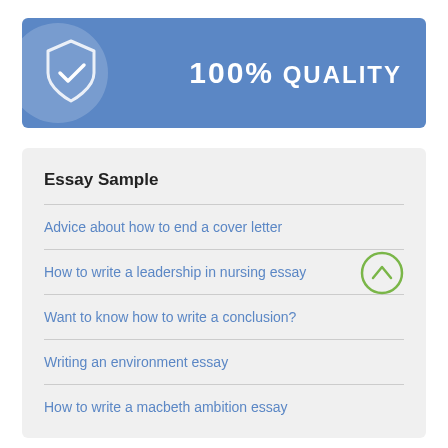[Figure (infographic): Blue banner with shield/checkmark icon on the left and '100% QUALITY' text on the right]
Essay Sample
Advice about how to end a cover letter
How to write a leadership in nursing essay
Want to know how to write a conclusion?
Writing an environment essay
How to write a macbeth ambition essay